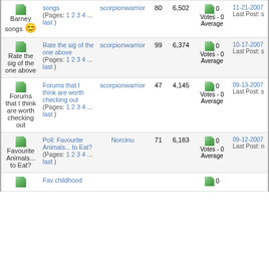| Icon | Title | Author | Replies | Views | Rating | Last Post |
| --- | --- | --- | --- | --- | --- | --- |
| [icon] Barney songs [smiley] | songs (Pages: 1 2 3 4 ... last ) | scorpionwarrior | 80 | 6,502 | 0 Votes - 0 Average | 11-21-2007 Last Post: s |
| [icon] Rate the sig of the one above | Rate the sig of the one above (Pages: 1 2 3 4 ... last ) | scorpionwarrior | 99 | 6,374 | 0 Votes - 0 Average | 10-17-2007 Last Post: s |
| [icon] Forums that I think are worth checking out | Forums that I think are worth checking out (Pages: 1 2 3 4 ... last ) | scorpionwarrior | 47 | 4,145 | 0 Votes - 0 Average | 09-13-2007 Last Post: s |
| [icon] Favourite Animals... to Eat? | Poll: Favourite Animals... to Eat? (Pages: 1 2 3 4 ... last ) | Norcinu | 71 | 6,183 | 0 Votes - 0 Average | 09-12-2007 Last Post: n |
| [icon] Fav childhood | Fav childhood |  |  |  | 0 |  |